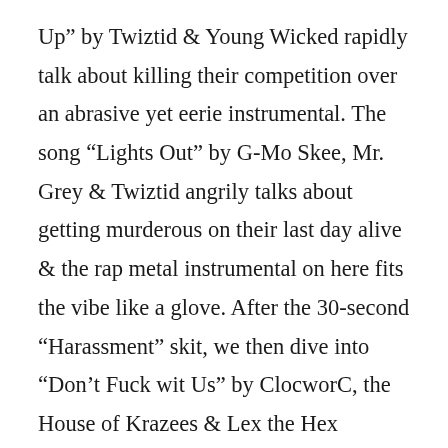Up” by Twiztid & Young Wicked rapidly talk about killing their competition over an abrasive yet eerie instrumental. The song “Lights Out” by G-Mo Skee, Mr. Grey & Twiztid angrily talks about getting murderous on their last day alive & the rap metal instrumental on here fits the vibe like a glove. After the 30-second “Harassment” skit, we then dive into “Don’t Fuck wit Us” by ClocworC, the House of Krazees & Lex the Hex Master. The lyrics are self explanatory, but they’re delivered fantastically over this menacing yet thumping instrumental. The song “Better Than Ever B4” by the Axe Murder Boyz, G-Mo Skee, Lex the Hex Master & Triple Threat talk knowing now than ever before about over some twinkling piano keys & an organ while “Flix ‘n Chill” by ClocworC, Triple Threat